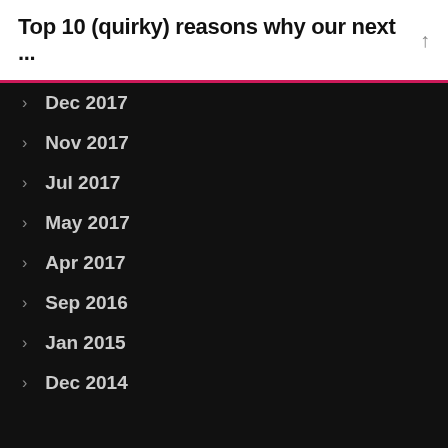Top 10 (quirky) reasons why our next ...
Dec 2017
Nov 2017
Jul 2017
May 2017
Apr 2017
Sep 2016
Jan 2015
Dec 2014
Top Posts & Pages
North Sea Cycle Route
Pennine Way
North Downs Way
EV12 🇳🇴 Norway
South West Coast Path